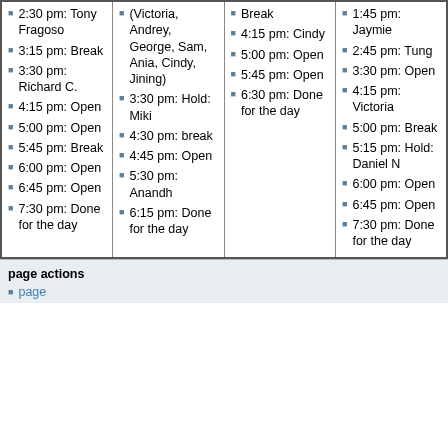| Col1 | Col2 | Col3 | Col4 |
| --- | --- | --- | --- |
| 2:30 pm: Tony Fragoso
3:15 pm: Break
3:30 pm: Richard C.
4:15 pm: Open
5:00 pm: Open
5:45 pm: Break
6:00 pm: Open
6:45 pm: Open
7:30 pm: Done for the day | (Victoria, Andrey, George, Sam, Ania, Cindy, Jining)
3:30 pm: Hold: Miki
4:30 pm: break
4:45 pm: Open
5:30 pm: Anandh
6:15 pm: Done for the day | Break
4:15 pm: Cindy
5:00 pm: Open
5:45 pm: Open
6:30 pm: Done for the day | 1:45 pm: Jaymie
2:45 pm: Tung
3:30 pm: Open
4:15 pm: Victoria
5:00 pm: Break
5:15 pm: Hold: Daniel N
6:00 pm: Open
6:45 pm: Open
7:30 pm: Done for the day |
page actions
page